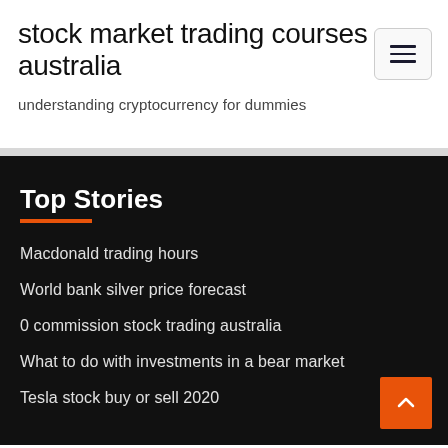stock market trading courses australia
understanding cryptocurrency for dummies
Top Stories
Macdonald trading hours
World bank silver price forecast
0 commission stock trading australia
What to do with investments in a bear market
Tesla stock buy or sell 2020